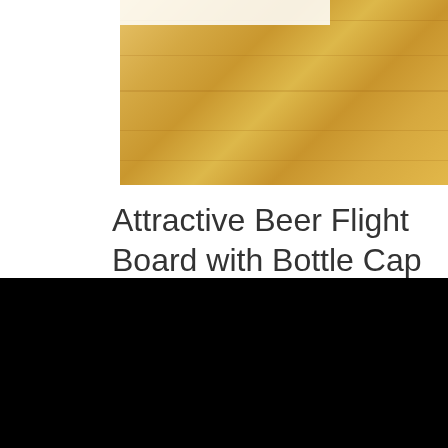[Figure (photo): Partial top view of a wooden beer flight board/paddle with a white surface element visible at the top. The board is made of light oak/pine wood with visible grain texture.]
Attractive Beer Flight Board with Bottle Cap Holes, Flight Paddle with Glasses – Style 12
$34.50